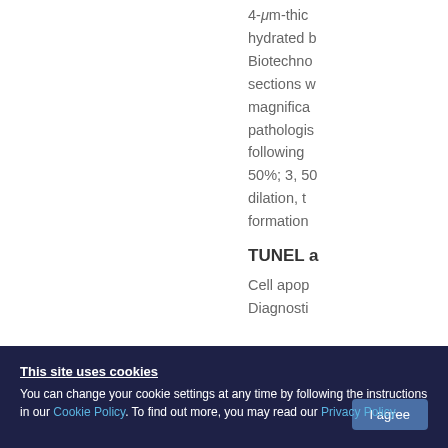4-μm-thick hydrated b Biotechnology sections w magnifica pathologis following 50%; 3, 50 dilation, t formation
TUNEL a
Cell apop Diagnosti
This site uses cookies
You can change your cookie settings at any time by following the instructions in our Cookie Policy. To find out more, you may read our Privacy Policy.